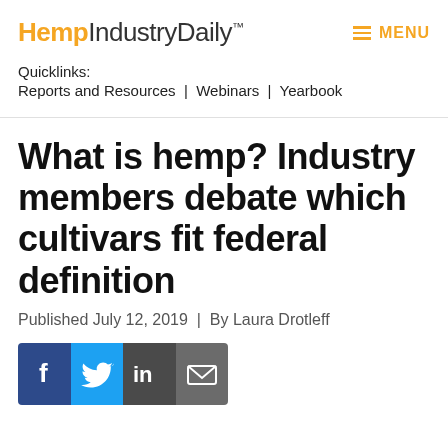HempIndustryDaily™
≡ MENU
Quicklinks:
Reports and Resources | Webinars | Yearbook
What is hemp? Industry members debate which cultivars fit federal definition
Published July 12, 2019 | By Laura Drotleff
[Figure (infographic): Social sharing buttons: Facebook (dark blue), Twitter (light blue), LinkedIn (dark gray), Email (gray)]